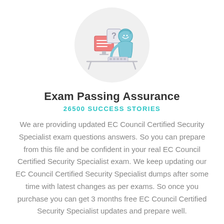[Figure (illustration): Circular illustration of a person sitting at a desk with a computer/monitor showing a question mark, and documents, drawn in a flat outline style with light blue, red/pink, and gray colors]
Exam Passing Assurance
26500 SUCCESS STORIES
We are providing updated EC Council Certified Security Specialist exam questions answers. So you can prepare from this file and be confident in your real EC Council Certified Security Specialist exam. We keep updating our EC Council Certified Security Specialist dumps after some time with latest changes as per exams. So once you purchase you can get 3 months free EC Council Certified Security Specialist updates and prepare well.